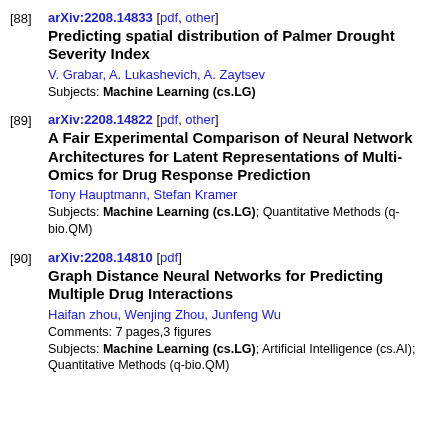[88] arXiv:2208.14833 [pdf, other]
Predicting spatial distribution of Palmer Drought Severity Index
V. Grabar, A. Lukashevich, A. Zaytsev
Subjects: Machine Learning (cs.LG)
[89] arXiv:2208.14822 [pdf, other]
A Fair Experimental Comparison of Neural Network Architectures for Latent Representations of Multi-Omics for Drug Response Prediction
Tony Hauptmann, Stefan Kramer
Subjects: Machine Learning (cs.LG); Quantitative Methods (q-bio.QM)
[90] arXiv:2208.14810 [pdf]
Graph Distance Neural Networks for Predicting Multiple Drug Interactions
Haifan zhou, Wenjing Zhou, Junfeng Wu
Comments: 7 pages,3 figures
Subjects: Machine Learning (cs.LG); Artificial Intelligence (cs.AI); Quantitative Methods (q-bio.QM)